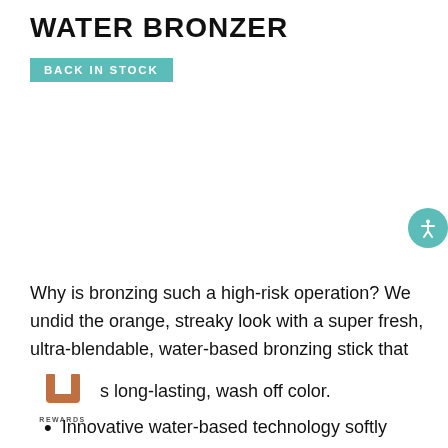WATER BRONZER
BACK IN STOCK
Why is bronzing such a high-risk operation? We undid the orange, streaky look with a super fresh, ultra-blendable, water-based bronzing stick that s long-lasting, wash off color.
Innovative water-based technology softly